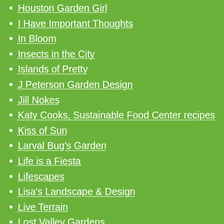Houston Garden Girl
I Have Important Thoughts
In Bloom
Insects in the City
Islands of Pretty
J Peterson Garden Design
Jill Nokes
Katy Cooks, Sustainable Food Center recipes
Kiss of Sun
Larval Bug's Garden
Life is a Fiesta
Lifescapes
Lisa's Landscape & Design
Live Terrain
Lost Valley Gardens
Morning Glories in Round Rock
Mostly Weeds
Mulish & Co.
My Black Thumb
My Corner of Katy
My Gardener Says